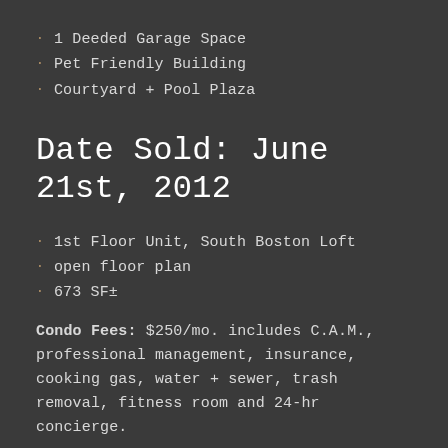1 Deeded Garage Space
Pet Friendly Building
Courtyard + Pool Plaza
Date Sold: June 21st, 2012
1st Floor Unit, South Boston Loft
open floor plan
673 SF±
Condo Fees: $250/mo. includes C.A.M., professional management, insurance, cooking gas, water + sewer, trash removal, fitness room and 24-hr concierge.
R.E. Taxes: $4,434.90/FYR2012 without residential exemption.
1 Deeded Garage Space